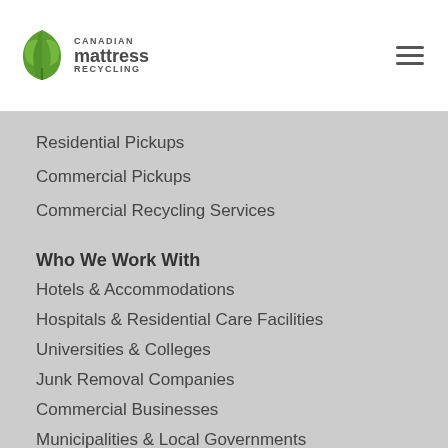Canadian Mattress Recycling
Residential Pickups
Commercial Pickups
Commercial Recycling Services
Who We Work With
Hotels & Accommodations
Hospitals & Residential Care Facilities
Universities & Colleges
Junk Removal Companies
Commercial Businesses
Municipalities & Local Governments